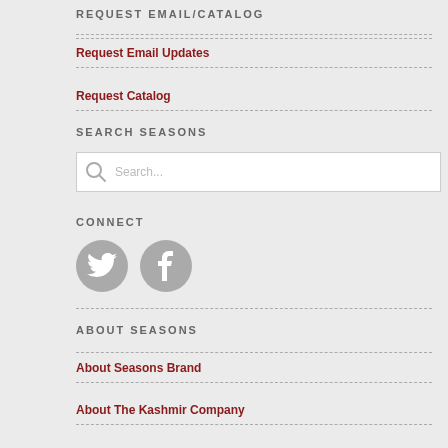REQUEST EMAIL/CATALOG
Request Email Updates
Request Catalog
SEARCH SEASONS
[Figure (screenshot): Search input box with magnifying glass icon and placeholder text 'Search...']
CONNECT
[Figure (illustration): Two circular social media icons: Twitter bird (gray) and Facebook f (gray)]
ABOUT SEASONS
About Seasons Brand
About The Kashmir Company